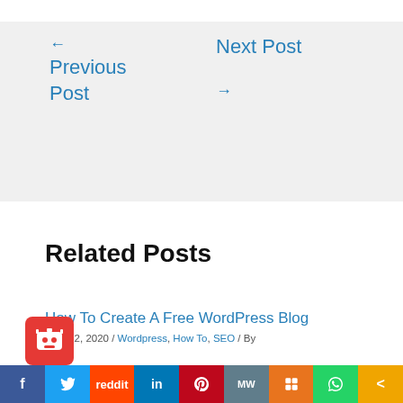← Previous Post
Next Post →
Related Posts
How To Create A Free WordPress Blog
October 12, 2020 / Wordpress, How To, SEO / By
f | Twitter | Reddit | in | Pinterest | MW | Mix | WhatsApp | <